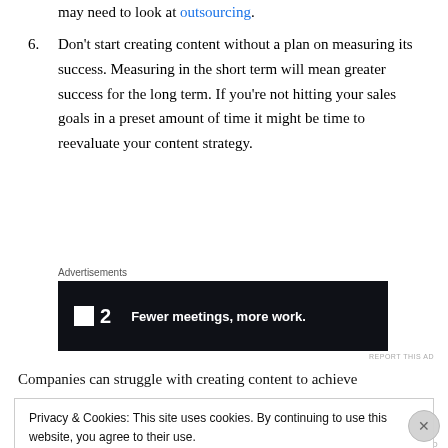may need to look at outsourcing.
6. Don't start creating content without a plan on measuring its success. Measuring in the short term will mean greater success for the long term. If you're not hitting your sales goals in a preset amount of time it might be time to reevaluate your content strategy.
[Figure (other): Advertisement banner for F2 (Fewer meetings, more work) — dark background with white logo and bold white tagline text]
Companies can struggle with creating content to achieve
Privacy & Cookies: This site uses cookies. By continuing to use this website, you agree to their use. To find out more, including how to control cookies, see here: Cookie Policy